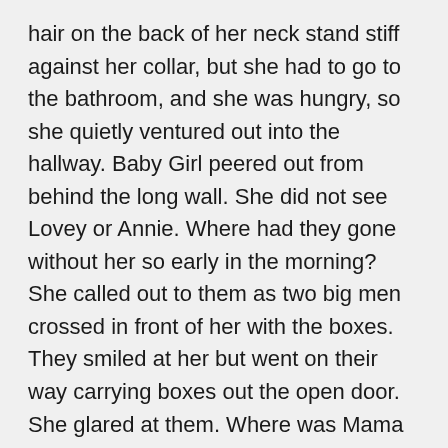hair on the back of her neck stand stiff against her collar, but she had to go to the bathroom, and she was hungry, so she quietly ventured out into the hallway. Baby Girl peered out from behind the long wall. She did not see Lovey or Annie. Where had they gone without her so early in the morning? She called out to them as two big men crossed in front of her with the boxes. They smiled at her but went on their way carrying boxes out the open door. She glared at them. Where was Mama or Dad? Baby Girl called out again. No one answered.
Since the front door was open and the big men were not around, she decided to let herself out